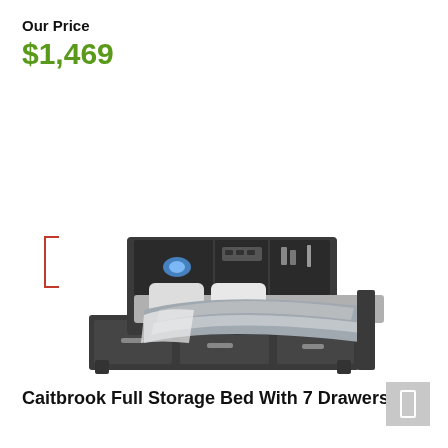Our Price
$1,469
See Details
[Figure (photo): A dark charcoal full storage bed (Caitbrook) with 7 storage drawers beneath the mattress platform, bookcase headboard with LED lighting and shelving, dressed with gray and white bedding.]
Caitbrook Full Storage Bed With 7 Drawers